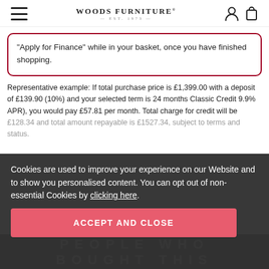WOODS FURNITURE
"Apply for Finance" while in your basket, once you have finished shopping.
Representative example: If total purchase price is £1,399.00 with a deposit of £139.90 (10%) and your selected term is 24 months Classic Credit 9.9% APR), you would pay £57.81 per month. Total charge for credit will be £128.34 and total amount repayable is £1527.34, subject to terms and status.
Cookies are used to improve your experience on our Website and to show you personalised content. You can opt out of non-essential Cookies by clicking here.
ACCEPT AND CLOSE
PEOPLE WHO BOUGHT THIS